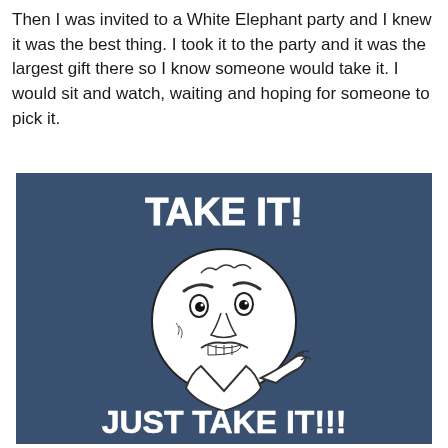Then I was invited to a White Elephant party and I knew it was the best thing. I took it to the party and it was the largest gift there so I know someone would take it. I would sit and watch, waiting and hoping for someone to pick it.
[Figure (illustration): Meme image with dark blue background featuring the 'Y U No' rage face in the center. Bold white text at top reads 'TAKE IT!' and bold white text at the bottom reads 'JUST TAKE IT!!!']